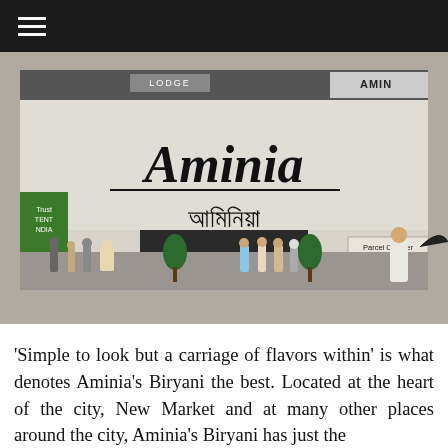[Figure (photo): Exterior photograph of Aminia restaurant showing the storefront with large cursive 'Aminia' signage in English and Bengali script, a 'Parcel Counter' sign on the right, people standing outside, and a 'Lodge' sign visible in the background upper left.]
'Simple to look but a carriage of flavors within' is what denotes Aminia's Biryani the best. Located at the heart of the city, New Market and at many other places around the city, Aminia's Biryani has just the